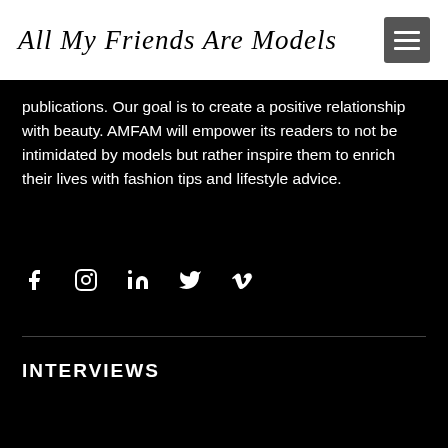All My Friends Are Models
publications. Our goal is to create a positive relationship with beauty. AMFAM will empower its readers to not be intimidated by models but rather inspire them to enrich their lives with fashion tips and lifestyle advice.
[Figure (other): Social media icons: Facebook, Instagram, LinkedIn, Twitter, Vimeo]
INTERVIEWS